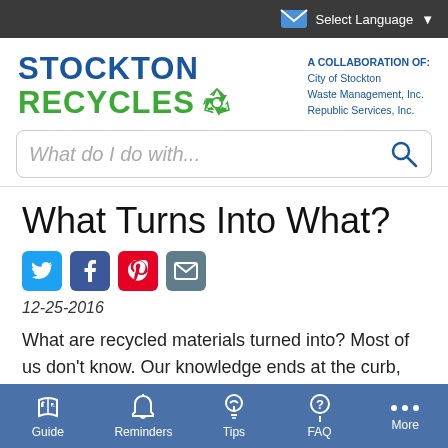Select Language
[Figure (logo): Stockton Recycles logo with recycling symbol and collaboration partners text]
What do I do with...
What Turns Into What?
[Figure (infographic): Social sharing icons: Twitter, Facebook, Pinterest, Email]
12-25-2016
What are recycled materials turned into? Most of us don't know. Our knowledge ends at the curb, where
Guide  Reminders  Tips  FAQ  More